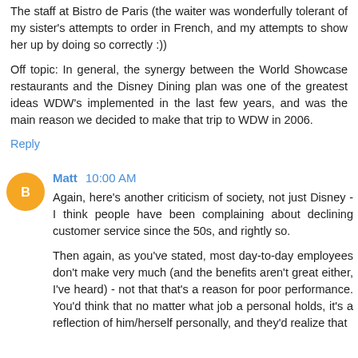The staff at Bistro de Paris (the waiter was wonderfully tolerant of my sister's attempts to order in French, and my attempts to show her up by doing so correctly :))
Off topic: In general, the synergy between the World Showcase restaurants and the Disney Dining plan was one of the greatest ideas WDW's implemented in the last few years, and was the main reason we decided to make that trip to WDW in 2006.
Reply
Matt 10:00 AM
Again, here's another criticism of society, not just Disney - I think people have been complaining about declining customer service since the 50s, and rightly so.
Then again, as you've stated, most day-to-day employees don't make very much (and the benefits aren't great either, I've heard) - not that that's a reason for poor performance. You'd think that no matter what job a personal holds, it's a reflection of him/herself personally, and they'd realize that